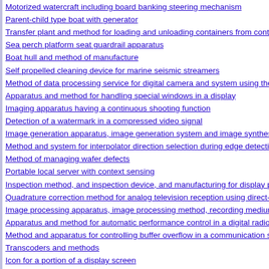Motorized watercraft including board banking steering mechanism
Parent-child type boat with generator
Transfer plant and method for loading and unloading containers from container ships
Sea perch platform seat guardrail apparatus
Boat hull and method of manufacture
Self propelled cleaning device for marine seismic streamers
Method of data processing service for digital camera and system using the same
Apparatus and method for handling special windows in a display
Imaging apparatus having a continuous shooting function
Detection of a watermark in a compressed video signal
Image generation apparatus, image generation system and image synthesis method
Method and system for interpolator direction selection during edge detection
Method of managing wafer defects
Portable local server with context sensing
Inspection method, and inspection device, and manufacturing for display panel
Quadrature correction method for analog television reception using direct-conversion
Image processing apparatus, image processing method, recording medium, and program
Apparatus and method for automatic performance control in a digital radio
Method and apparatus for controlling buffer overflow in a communication system
Transcoders and methods
Icon for a portion of a display screen
Icon for a portion of a display screen
Icon for a portion of a display screen
Graphical user interface for a portion of a display screen
Electronic mouse
Flash drive radio
Portions of a connector plug and receptacle pair
Architecture and design for central authentication and authorization in an on-demand environment
Method and apparatus for managing multiple data processing systems using existing
Input redirection
Method for inter partition communication within a logical partitioned data processing system
Generating and managing filter strings in a filter graph
Product packaging and installation mechanism
Using behavioral annotations in source code to build middleware applications
Detecting program phases with periodic call-stack sampling during garbage collection
Methods and apparatus for providing communications services between connections
Optimization of point-to-point sessions
Facsimile network